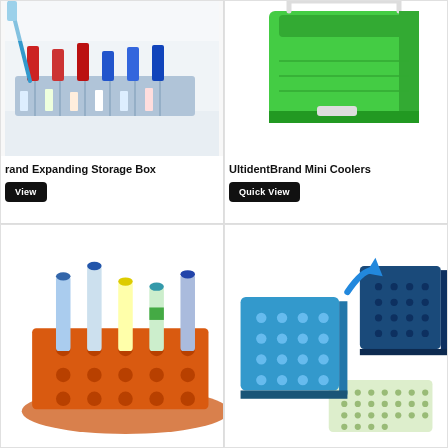[Figure (photo): Lab storage box with colorful tube racks and tubes, partially cut off on left]
Brand Expanding Storage Box
Quick View
[Figure (photo): Green mini cooler/ice box with handle]
UltidentBrand Mini Coolers
Quick View
[Figure (photo): Orange test tube rack with blue-capped tubes]
[Figure (photo): Blue cooling blocks and 96-well plate for PCR]